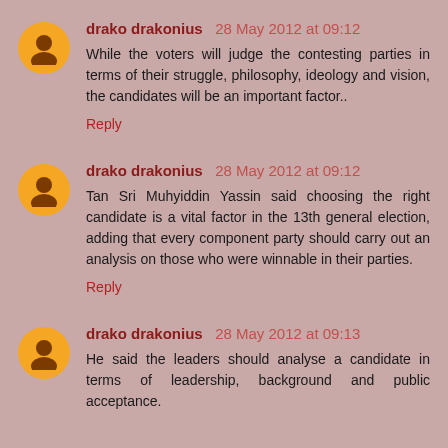drako drakonius 28 May 2012 at 09:12
While the voters will judge the contesting parties in terms of their struggle, philosophy, ideology and vision, the candidates will be an important factor..
Reply
drako drakonius 28 May 2012 at 09:12
Tan Sri Muhyiddin Yassin said choosing the right candidate is a vital factor in the 13th general election, adding that every component party should carry out an analysis on those who were winnable in their parties.
Reply
drako drakonius 28 May 2012 at 09:13
He said the leaders should analyse a candidate in terms of leadership, background and public acceptance.